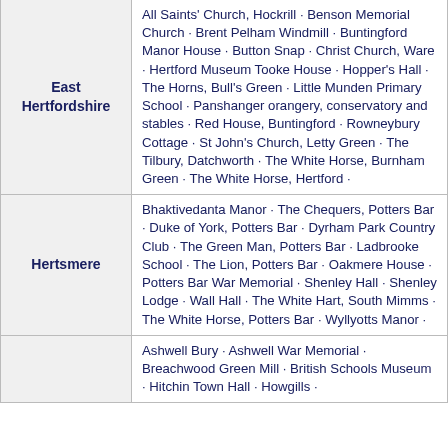| District | Buildings/Sites |
| --- | --- |
| East Hertfordshire | All Saints' Church, Hockrill · Benson Memorial Church · Brent Pelham Windmill · Buntingford Manor House · Button Snap · Christ Church, Ware · Hertford Museum Tooke House · Hopper's Hall · The Horns, Bull's Green · Little Munden Primary School · Panshanger orangery, conservatory and stables · Red House, Buntingford · Rowneybury Cottage · St John's Church, Letty Green · The Tilbury, Datchworth · The White Horse, Burnham Green · The White Horse, Hertford · |
| Hertsmere | Bhaktivedanta Manor · The Chequers, Potters Bar · Duke of York, Potters Bar · Dyrham Park Country Club · The Green Man, Potters Bar · Ladbrooke School · The Lion, Potters Bar · Oakmere House · Potters Bar War Memorial · Shenley Hall · Shenley Lodge · Wall Hall · The White Hart, South Mimms · The White Horse, Potters Bar · Wyllyotts Manor · |
| (partial) | Ashwell Bury · Ashwell War Memorial · Breachwood Green Mill · British Schools Museum · Hitchin Town Hall · Howgills · |